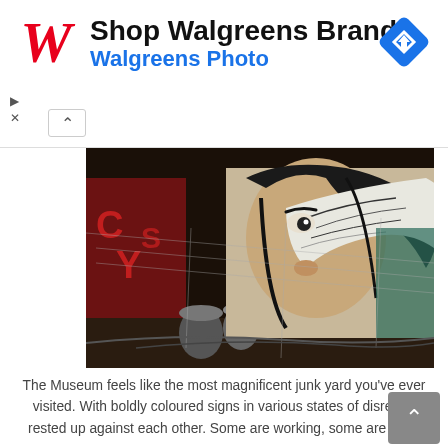[Figure (screenshot): Walgreens advertisement banner with Walgreens W logo in red, text 'Shop Walgreens Brand' in black and 'Walgreens Photo' in blue, navigation arrow icon in top right, collapse/close controls at bottom left]
[Figure (photo): Photograph of a colorful street art mural on a wall behind a chain-link fence. The mural depicts a stylized figure with black and white swirling patterns and orange/teal colors. A partial red neon sign is visible on the left side. The scene appears to be outdoors at night or in low light.]
The Museum feels like the most magnificent junk yard you've ever visited. With boldly coloured signs in various states of disrepair rested up against each other. Some are working, some are bold, some are faded and missing bulbs and neon tubes but they all feel exciting.
I love how the artifacts are artfully displayed. It looks random but is as visually pleasing as any art gallery I've visited.